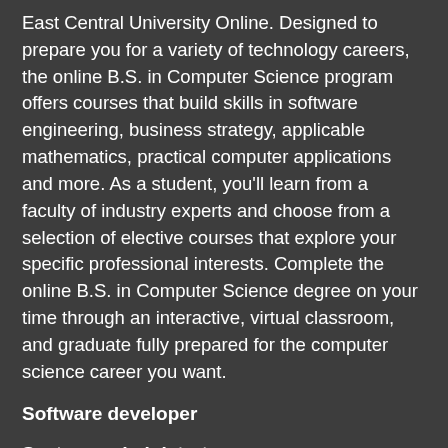East Central University Online. Designed to prepare you for a variety of technology careers, the online B.S. in Computer Science program offers courses that build skills in software engineering, business strategy, applicable mathematics, practical computer applications and more. As a student, you'll learn from a faculty of industry experts and choose from a selection of elective courses that explore your specific professional interests. Complete the online B.S. in Computer Science degree on your time through an interactive, virtual classroom, and graduate fully prepared for the computer science career you want.
Software developer
Systems administrator
Data analyst
Web developer